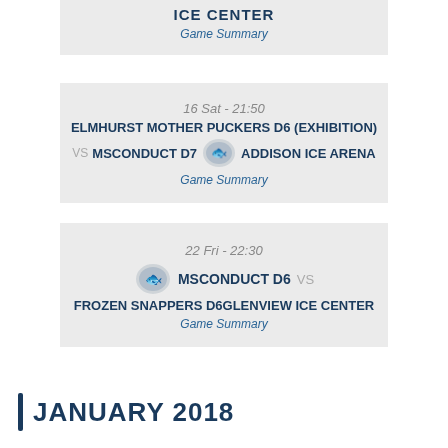ICE CENTER
Game Summary
16 Sat - 21:50
ELMHURST MOTHER PUCKERS D6 (EXHIBITION)
VS  MSCONDUCT D7  ADDISON ICE ARENA
Game Summary
22 Fri - 22:30
MSCONDUCT D6   VS
FROZEN SNAPPERS D6  GLENVIEW ICE CENTER
Game Summary
JANUARY 2018